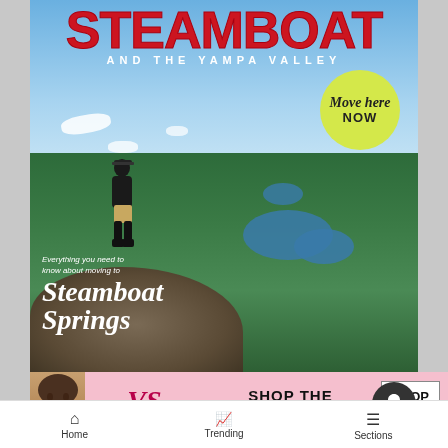[Figure (photo): Magazine cover for 'Steamboat and the Yampa Valley' showing a person standing on rocks overlooking a mountain valley with lakes and snow patches, with a yellow circular badge reading 'Move here NOW', and text overlay reading 'Everything you need to know about moving to Steamboat Springs']
STEAMBOAT
AND THE YAMPA VALLEY
Move here NOW
Everything you need to know about moving to
Steamboat Springs
[Figure (photo): Victoria's Secret advertisement banner with logo, 'SHOP THE COLLECTION' text and 'SHOP NOW' button, with a partial image of a woman on the left side]
Home | Trending | Sections